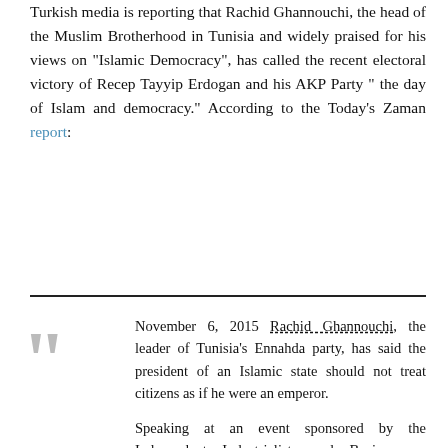Turkish media is reporting that Rachid Ghannouchi, the head of the Muslim Brotherhood in Tunisia and widely praised for his views on "Islamic Democracy", has called the recent electoral victory of Recep Tayyip Erdogan and his AKP Party " the day of Islam and democracy." According to the Today's Zaman report:
November 6, 2015 Rachid Ghannouchi, the leader of Tunisia's Ennahda party, has said the president of an Islamic state should not treat citizens as if he were an emperor.

Speaking at an event sponsored by the Independent Industrialists and Businessmen Association (MÜSIAD), in ?stanbul, Ghannouchi noted the ideal characteristics of an Islamic leader. MÜSIAD is a pro-government business association.

.He [the Islamic leader]should be modest by considering himself an ordinary person. This [principle]is included among the conditions set by Islam for [an ideal]state,' Ghannouchi said at the